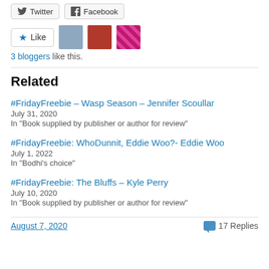[Figure (other): Social share buttons for Twitter and Facebook]
[Figure (other): Like button with star icon and 3 blogger avatar thumbnails]
3 bloggers like this.
Related
#FridayFreebie – Wasp Season – Jennifer Scoullar
July 31, 2020
In "Book supplied by publisher or author for review"
#FridayFreebie: WhoDunnit, Eddie Woo?- Eddie Woo
July 1, 2022
In "Bodhi's choice"
#FridayFreebie: The Bluffs – Kyle Perry
July 10, 2020
In "Book supplied by publisher or author for review"
August 7, 2020
17 Replies